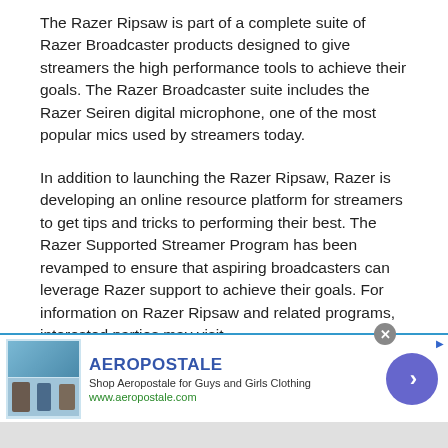The Razer Ripsaw is part of a complete suite of Razer Broadcaster products designed to give streamers the high performance tools to achieve their goals. The Razer Broadcaster suite includes the Razer Seiren digital microphone, one of the most popular mics used by streamers today.
In addition to launching the Razer Ripsaw, Razer is developing an online resource platform for streamers to get tips and tricks to performing their best. The Razer Supported Streamer Program has been revamped to ensure that aspiring broadcasters can leverage Razer support to achieve their goals. For information on Razer Ripsaw and related programs, interested parties may visit www.razerzone.com/ripsaw
[Figure (screenshot): Advertisement banner for Aeropostale showing clothing images, brand name in blue, tagline, website URL, and a purple arrow button]